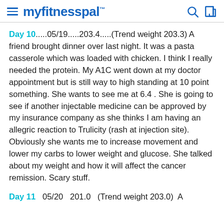myfitnesspal
Day 10.....05/19.....203.4.....(Trend weight 203.3) A friend brought dinner over last night. It was a pasta casserole which was loaded with chicken. I think I really needed the protein. My A1C went down at my doctor appointment but is still way to high standing at 10 point something. She wants to see me at 6.4 . She is going to see if another injectable medicine can be approved by my insurance company as she thinks I am having an allegric reaction to Trulicity (rash at injection site). Obviously she wants me to increase movement and lower my carbs to lower weight and glucose. She talked about my weight and how it will affect the cancer remission. Scary stuff.
Day 11   05/20   201.0   (Trend weight 203.0) A